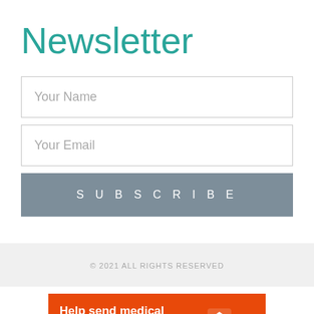Newsletter
Your Name
Your Email
SUBSCRIBE
© 2021 ALL RIGHTS RESERVED
[Figure (other): Orange advertisement banner for Direct Relief: 'Help send medical aid to Ukraine >>' with DirectRelief logo on right side]